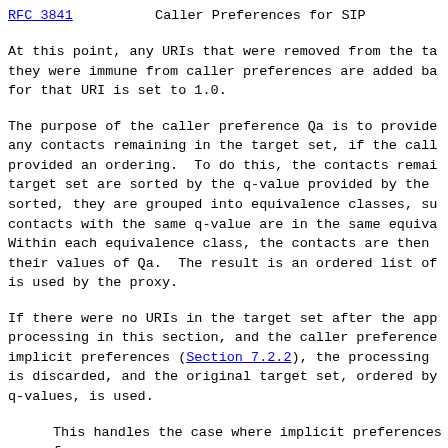RFC 3841   Caller Preferences for SIP
At this point, any URIs that were removed from the target set because they were immune from caller preferences are added back, and the q-value for that URI is set to 1.0.
The purpose of the caller preference Qa is to provide an ordering for any contacts remaining in the target set, if the caller preferences provided an ordering.  To do this, the contacts remaining in the target set are sorted by the q-value provided by the caller.  Once sorted, they are grouped into equivalence classes, such that all contacts with the same q-value are in the same equivalence class. Within each equivalence class, the contacts are then ordered based on their values of Qa.  The result is an ordered list of contacts which is used by the proxy.
If there were no URIs in the target set after the application of processing in this section, and the caller preferences included only implicit preferences (Section 7.2.2), the processing in this section is discarded, and the original target set, ordered by their q-values, is used.
This handles the case where implicit preferences for event packages resulted in the elimination of all potential targets.  By going back to the original target set, all targets will be tried, and result in the generation of a 406 (Not Acceptable) response.  The UAC can then use this information to report the error to the user.  Without reverting to